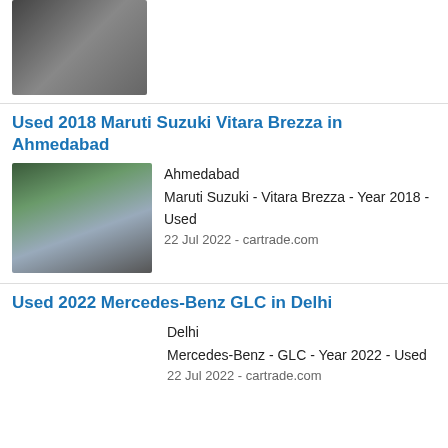[Figure (photo): Partial view of a dark-colored car, top portion visible]
Used 2018 Maruti Suzuki Vitara Brezza in Ahmedabad
[Figure (photo): Front view of a Maruti Suzuki Vitara Brezza car, silver/white color]
Ahmedabad
Maruti Suzuki - Vitara Brezza - Year 2018 - Used
22 Jul 2022 - cartrade.com
Used 2022 Mercedes-Benz GLC in Delhi
Delhi
Mercedes-Benz - GLC - Year 2022 - Used
22 Jul 2022 - cartrade.com